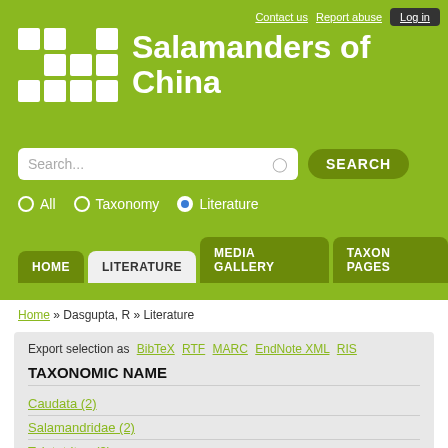Contact us  Report abuse  Log in
Salamanders of China
Search...
All  Taxonomy  Literature
HOME  LITERATURE  MEDIA GALLERY  TAXON PAGES
Home » Dasgupta, R » Literature
Export selection as  BibTeX  RTF  MARC  EndNote XML  RIS
TAXONOMIC NAME
Caudata (2)
Salamandridae (2)
Tylototriton (2)
Tylototriton verrucosus Anderson, 1871 (2)